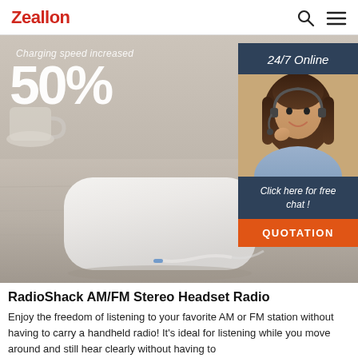Zeallon
[Figure (photo): Hero banner showing TWS wireless earbuds and charging case on a wood table with text 'Charging speed increased 50%' overlaid. A 24/7 Online chat widget appears on the right with a customer service representative photo, 'Click here for free chat!' text, and an orange QUOTATION button.]
RadioShack AM/FM Stereo Headset Radio
Enjoy the freedom of listening to your favorite AM or FM station without having to carry a handheld radio! It's ideal for listening while you move around and still hear clearly without having to